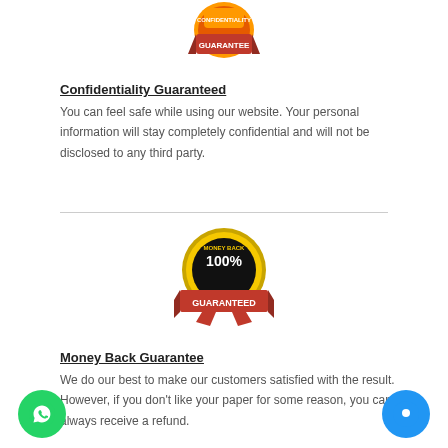[Figure (logo): Confidentiality Guarantee badge - blue and orange badge at top center]
Confidentiality Guaranteed
You can feel safe while using our website. Your personal information will stay completely confidential and will not be disclosed to any third party.
[Figure (logo): Money Back 100% Guaranteed badge - gold medal with red ribbon]
Money Back Guarantee
We do our best to make our customers satisfied with the result. However, if you don't like your paper for some reason, you can always receive a refund.